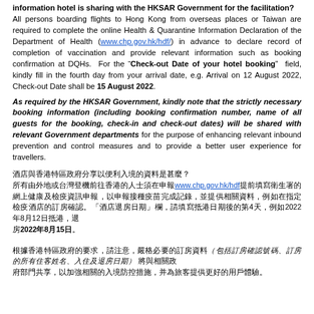information hotel is sharing with the HKSAR Government for the facilitation? All persons boarding flights to Hong Kong from overseas places or Taiwan are required to complete the online Health & Quarantine Information Declaration of the Department of Health (www.chp.gov.hk/hdf/) in advance to declare record of completion of vaccination and provide relevant information such as booking confirmation at DQHs. For the "Check-out Date of your hotel booking" field, kindly fill in the fourth day from your arrival date, e.g. Arrival on 12 August 2022, Check-out Date shall be 15 August 2022.
As required by the HKSAR Government, kindly note that the strictly necessary booking information (including booking confirmation number, name of all guests for the booking, check-in and check-out dates) will be shared with relevant Government departments for the purpose of enhancing relevant inbound prevention and control measures and to provide a better user experience for travellers.
酒店與香港特區政府分享以便利入境的資料是甚麼？ 所有由外地或台灣登機前往香港的人士須在www.chp.gov.hk/hdf提前填寫衛生署的網上健康及檢疫資訊申報，以申報接種疫苗完成記錄，並提供相關資料，例如在指定檢疫酒店的訂房確認。「酒店退房日期」欄，請填寫抵港日期後的第4天，例如2022年8月12日抵港，退房日期為2022年8月15日。
根據香港特區政府的要求，請注意，嚴格必要的訂房資料（包括訂房確認號碼、訂房的所有住客姓名、入住及退房日期）將與相關政府部門共享，以加強相關的入境防控措施，并為旅客提供更好的用戶體驗。